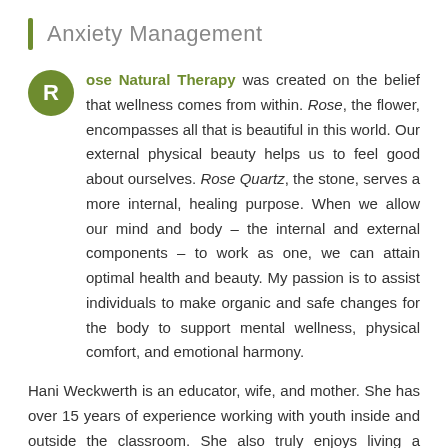Anxiety Management
Rose Natural Therapy was created on the belief that wellness comes from within. Rose, the flower, encompasses all that is beautiful in this world. Our external physical beauty helps us to feel good about ourselves. Rose Quartz, the stone, serves a more internal, healing purpose. When we allow our mind and body – the internal and external components – to work as one, we can attain optimal health and beauty. My passion is to assist individuals to make organic and safe changes for the body to support mental wellness, physical comfort, and emotional harmony.
Hani Weckwerth is an educator, wife, and mother. She has over 15 years of experience working with youth inside and outside the classroom. She also truly enjoys living a natural, holistic way of life while helping those around her look and feel their best. Hani wants to use her passion to help educate and empower adults and children on how to